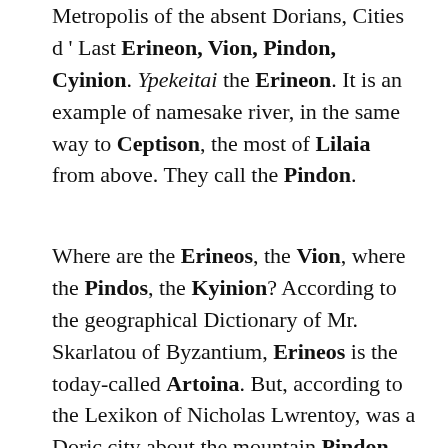Metropolis of the absent Dorians, Cities d ' Last Erineon, Vion, Pindon, Cyinion. Ypekeitai the Erineon. It is an example of namesake river, in the same way to Ceptison, the most of Lilaia from above. They call the Pindon.
Where are the Erineos, the Vion, where the Pindos, the Kyinion? According to the geographical Dictionary of Mr. Skarlatou of Byzantium, Erineos is the today-called Artoina. But, according to the Lexikon of Nicholas Lwrentoy, was a Doric city about the mountain Pindon. Vion, a city near Erineu, on Mount Parassos, the Kylinion, Polis and this on Mount Parnassus and Pindos, the town of Dorida on the Homonymous river in the Doric